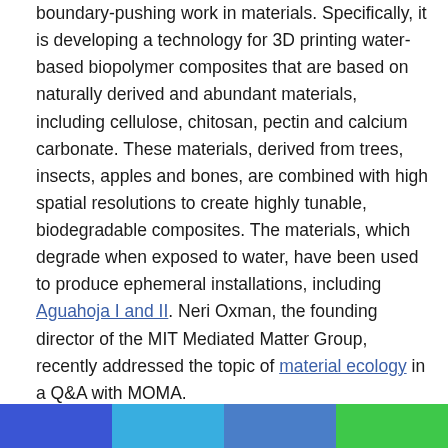boundary-pushing work in materials. Specifically, it is developing a technology for 3D printing water-based biopolymer composites that are based on naturally derived and abundant materials, including cellulose, chitosan, pectin and calcium carbonate. These materials, derived from trees, insects, apples and bones, are combined with high spatial resolutions to create highly tunable, biodegradable composites. The materials, which degrade when exposed to water, have been used to produce ephemeral installations, including Aguahoja I and II. Neri Oxman, the founding director of the MIT Mediated Matter Group, recently addressed the topic of material ecology in a Q&A with MOMA.
On another front, a researcher from the University of Toronto made headlines earlier this year for successfully